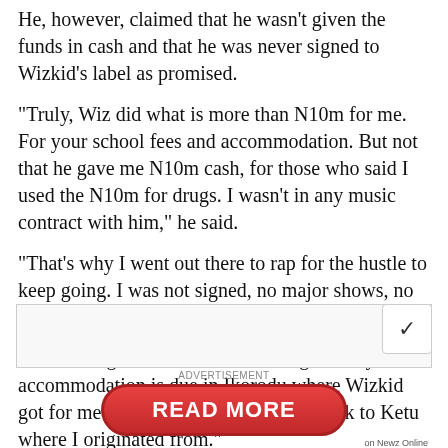He, however, claimed that he wasn't given the funds in cash and that he was never signed to Wizkid's label as promised.
"Truly, Wiz did what is more than N10m for me. For your school fees and accommodation. But not that he gave me N10m cash, for those who said I used the N10m for drugs. I wasn't in any music contract with him," he said.
"That's why I went out there to rap for the hustle to keep going. I was not signed, no major shows, no records.
"I couldn't get a means to survive again till your accommodation is due in Ikorodu where Wizkid got for me and my mum. I then went back to Ketu where I originated from."
[Figure (other): Advertisement area with a READ MORE button in red pill shape, labeled 'on Newz Online']